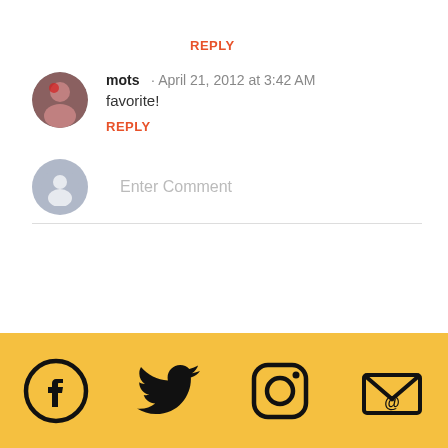REPLY
mots · April 21, 2012 at 3:42 AM
favorite!
REPLY
Enter Comment
[Figure (logo): Social media icons row: Facebook, Twitter, Instagram, Email on golden yellow background]